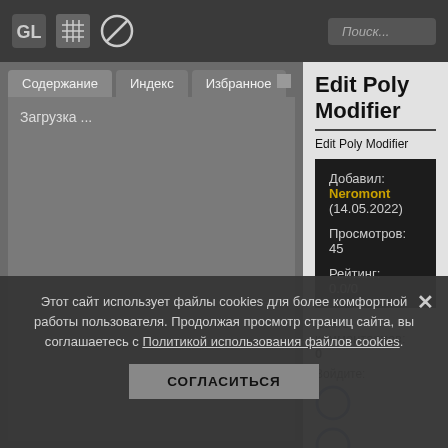Поиск... [navigation bar with icons]
Содержание | Индекс | Избранное
Загрузка ...
Edit Poly Modifier
Edit Poly Modifier
Добавил: Neromont (14.05.2022)
Просмотров: 45
Рейтинг: 0.0/0
Всего комментариев:
0
Войдите:
Этот сайт использует файлы cookies для более комфортной работы пользователя. Продолжая просмотр страниц сайта, вы соглашаетесь с Политикой использования файлов cookies.
СОГЛАСИТЬСЯ